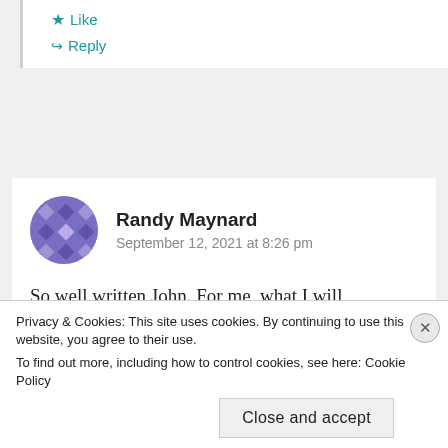Like
Reply
Randy Maynard
September 12, 2021 at 8:26 pm
So well written John. For me, what I will remember about your dad is the love he had for
Privacy & Cookies: This site uses cookies. By continuing to use this website, you agree to their use.
To find out more, including how to control cookies, see here: Cookie Policy
Close and accept